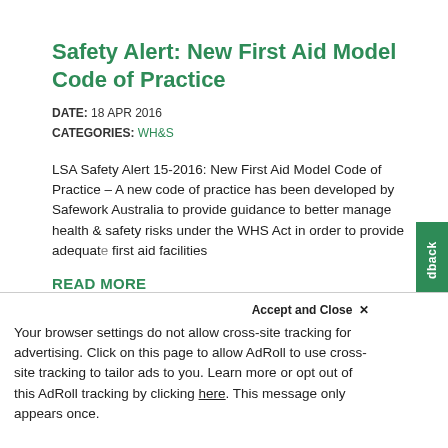Safety Alert: New First Aid Model Code of Practice
DATE: 18 APR 2016
CATEGORIES: WH&S
LSA Safety Alert 15-2016: New First Aid Model Code of Practice – A new code of practice has been developed by Safework Australia to provide guidance to better manage health & safety risks under the WHS Act in order to provide adequate first aid facilities
READ MORE
Safety Alert: NEW 'ALIVE AND WELL'
WEBSITE
Accept and Close ✕
Your browser settings do not allow cross-site tracking for advertising. Click on this page to allow AdRoll to use cross-site tracking to tailor ads to you. Learn more or opt out of this AdRoll tracking by clicking here. This message only appears once.